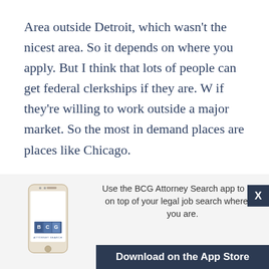Area outside Detroit, which wasn't the nicest area. So it depends on where you apply. But I think that lots of people can get federal clerkships if they are. W if they're willing to work outside a major market. So the most in demand places are places like Chicago.
New York major city. That's where
[Figure (illustration): BCG Attorney Search app advertisement banner showing a smartphone with the BCG logo, text 'Use the BCG Attorney Search app to stay on top of your legal job search wherever you are.' and a 'Download on the App Store' button. A close (X) button appears in the top right of the banner.]